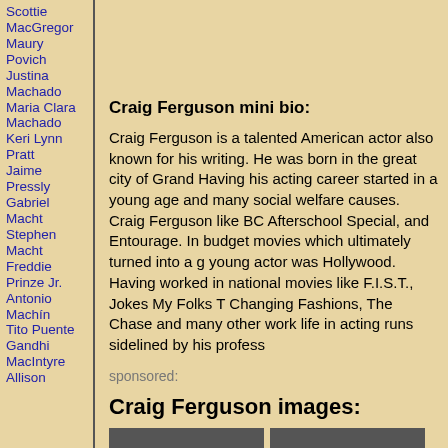Scottie MacGregor
Maury Povich
Justina Machado
Maria Clara Machado
Keri Lynn Pratt
Jaime Pressly
Gabriel Macht
Stephen Macht
Freddie Prinze Jr.
Antonio Machín
Tito Puente
Gandhi
MacIntyre
Allison
Craig Ferguson mini bio:
Craig Ferguson is a talented American actor also known for his writing. He was born in the great city of Grand Having his acting career started in a young age and many social welfare causes. Craig Ferguson like BC Afterschool Special, and Entourage. In budget movies which ultimately turned into a g young actor was Hollywood. Having worked in national movies like F.I.S.T., Jokes My Folks T Changing Fashions, The Chase and many other work life in acting runs sidelined by his profess
sponsored:
Craig Ferguson images:
[Figure (photo): Two thumbnail photos of Craig Ferguson]